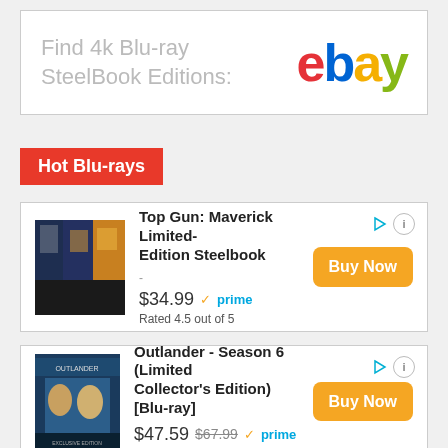[Figure (logo): eBay banner ad with text 'Find 4k Blu-ray SteelBook Editions:' and the eBay logo in red, blue, yellow, green]
Hot Blu-rays
[Figure (other): Product card: Top Gun: Maverick Limited-Edition Steelbook, $34.99, prime, Rated 4.5 out of 5, Buy Now button]
[Figure (other): Product card: Outlander - Season 6 (Limited Collector's Edition) [Blu-ray], $47.59 (was $67.99), prime, Rated 3.9 out of 5, Buy Now button]